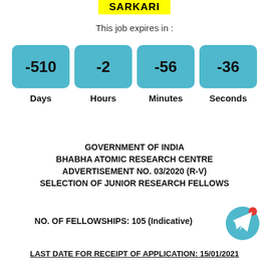SARKARI
This job expires in :
[Figure (infographic): Countdown timer showing -510 Days, -2 Hours, -56 Minutes, -36 Seconds in teal rounded boxes]
GOVERNMENT OF INDIA
BHABHA ATOMIC RESEARCH CENTRE
ADVERTISEMENT NO. 03/2020 (R-V)
SELECTION OF JUNIOR RESEARCH FELLOWS
NO. OF FELLOWSHIPS: 105 (Indicative)
LAST DATE FOR RECEIPT OF APPLICATION: 15/01/2021